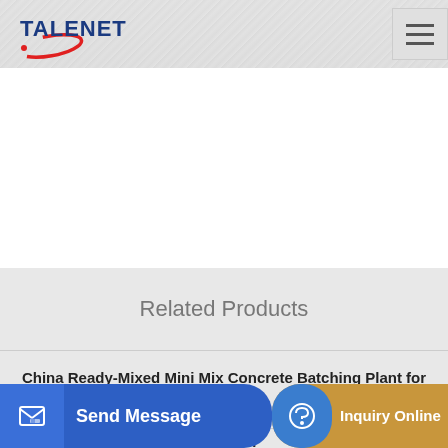TALENET
Related Products
China Ready-Mixed Mini Mix Concrete Batching Plant for Sale
Hills Concrete Pumping Ocala FL
Send Message | Inquiry Online